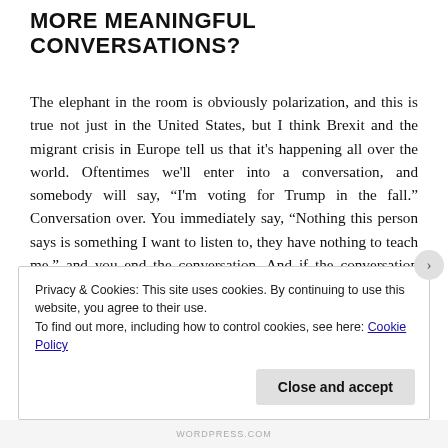MORE MEANINGFUL CONVERSATIONS?
The elephant in the room is obviously polarization, and this is true not just in the United States, but I think Brexit and the migrant crisis in Europe tell us that it’s happening all over the world. Oftentimes we’ll enter into a conversation, and somebody will say, “I’m voting for Trump in the fall.” Conversation over. You immediately say, “Nothing this person says is something I want to listen to, they have nothing to teach me,” and you end the conversation. And if the conversation does
Privacy & Cookies: This site uses cookies. By continuing to use this website, you agree to their use.
To find out more, including how to control cookies, see here: Cookie Policy
WORDPRESS.COM